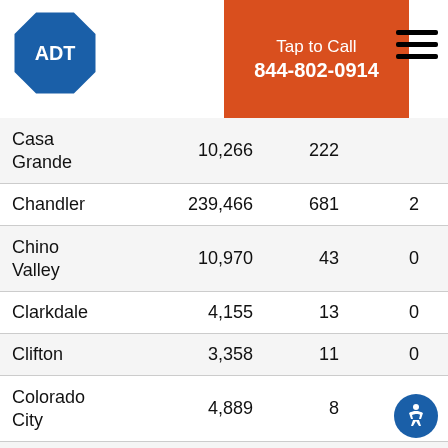ADT | Tap to Call 844-802-0914
| City | Population | Total Crimes | Murder | Rape | Robbery |
| --- | --- | --- | --- | --- | --- |
| Casa Grande | 10,266 | 222 |  | 0 | 22 |
| Chandler | 239,466 | 681 | 2 | 62 | 171 |
| Chino Valley | 10,970 | 43 | 0 | 1 | 0 |
| Clarkdale | 4,155 | 13 | 0 | 0 | 0 |
| Clifton | 3,358 | 11 | 0 | 0 | 1 |
| Colorado City | 4,889 | 8 | 0 | 1 | 0 |
| Coolidge | 11,992 | 85 | 0 | 8 | 19 |
| Cottonwood | 11,424 | 54 | 0 | 1 | 3 |
| Douglas4 | 17,624 |  | 1 | 0 | 5 |